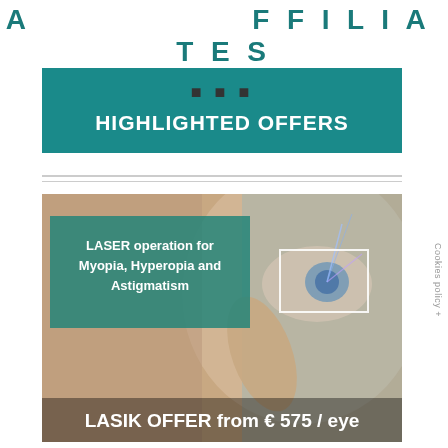AFFILIATES
••• HIGHLIGHTED OFFERS
[Figure (photo): Woman touching her eye with finger, a blue laser light shining on her eye. Overlay box with text: LASER operation for Myopia, Hyperopia and Astigmatism. Bottom text: LASIK OFFER from € 575 / eye]
Cookies policy +